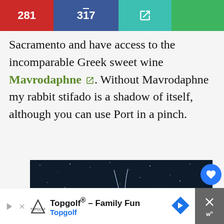281  317  [external link icon]
Sacramento and have access to the incomparable Greek sweet wine Mavrodaphne [external link]. Without Mavrodaphne my rabbit stifado is a shadow of itself, although you can use Port in a pinch.
[Figure (illustration): Dark starry night sky background with a white line-art illustration of a rabbit or animal figure in constellation style]
[Figure (infographic): What's Next panel showing Rabbit Recipes thumbnail with text 'WHAT'S NEXT → Rabbit Recipes -...']
Topgolf® - Family Fun Topgolf